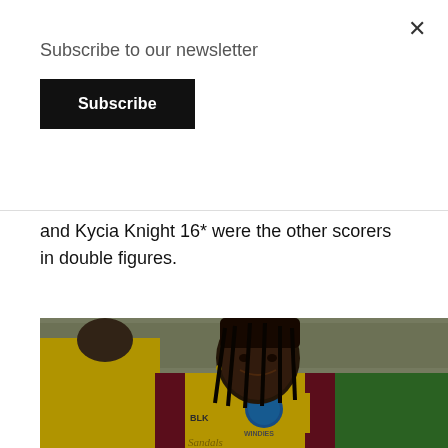Subscribe to our newsletter
Subscribe
and Kycia Knight 16* were the other scorers in double figures.
[Figure (photo): Female West Indies cricket player wearing yellow and maroon Windies BLK jersey with Sandals sponsorship, smiling at camera, with crowd and green field in background at night.]